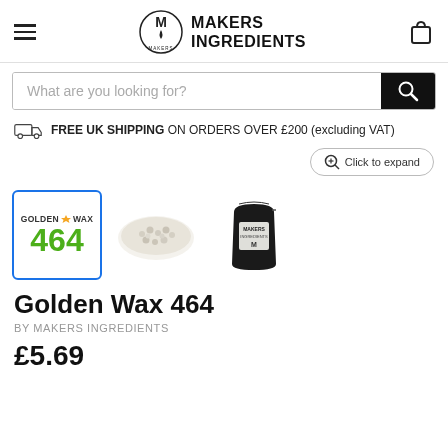Makers Ingredients — navigation header with hamburger menu, logo, and cart icon
What are you looking for?
FREE UK SHIPPING ON ORDERS OVER £200 (excluding VAT)
[Figure (screenshot): Product thumbnail gallery showing: (1) selected Golden Wax 464 label card with blue border, (2) loose white wax granules, (3) black branded stand-up pouch bag. Expand button top right.]
Golden Wax 464
BY MAKERS INGREDIENTS
£5.69